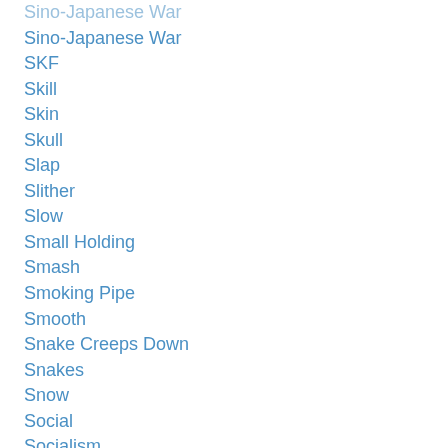Sino-Japanese War
Sino-Japanese War
SKF
Skill
Skin
Skull
Slap
Slither
Slow
Small Holding
Smash
Smoking Pipe
Smooth
Snake Creeps Down
Snakes
Snow
Social
Socialism
Soft
Solar
Sole